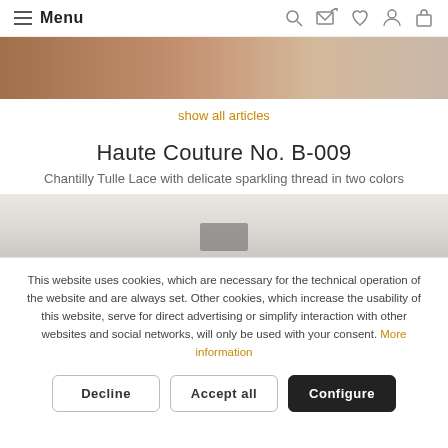Menu
[Figure (photo): Partial view of a textured leather/skin-toned surface, possibly a handbag or leather goods product image cropped at top of page]
show all articles
Haute Couture No. B-009
Chantilly Tulle Lace with delicate sparkling thread in two colors
[Figure (photo): Partial product image showing white/marble-textured fabric or surface with a small dark item at the bottom center]
This website uses cookies, which are necessary for the technical operation of the website and are always set. Other cookies, which increase the usability of this website, serve for direct advertising or simplify interaction with other websites and social networks, will only be used with your consent. More information
Decline
Accept all
Configure